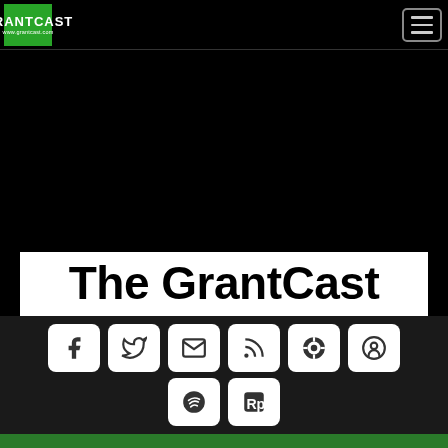GrantCast navigation bar with logo and hamburger menu
The GrantCast
[Figure (other): Social media icon buttons: Facebook, Twitter, Email, RSS, Podcast app, Apple Podcasts, Spotify, Rp icon]